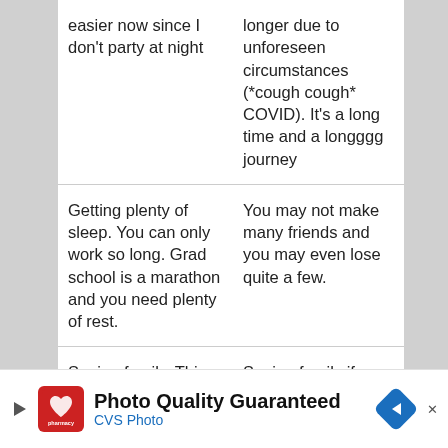| Easy | Difficult |
| --- | --- |
| easier now since I don't party at night | longer due to unforeseen circumstances (*cough cough* COVID). It's a long time and a longggg journey |
| Getting plenty of sleep. You can only work so long. Grad school is a marathon and you need plenty of rest. | You may not make many friends and you may even lose quite a few. |
| Seeing family. This is easy for me, not so much with other's. This will also be on the difficult side. | Seeing family if you live far away from them. It's actually really sad seeing some of the international students coming into the office during breaks because they can't go home to their families. Also, why am I in the office during |
[Figure (other): CVS Photo advertisement banner: Play button icon, CVS Pharmacy logo (red box with heart), text 'Photo Quality Guaranteed' in bold and 'CVS Photo' in blue, blue diamond arrow icon on right, close X button.]